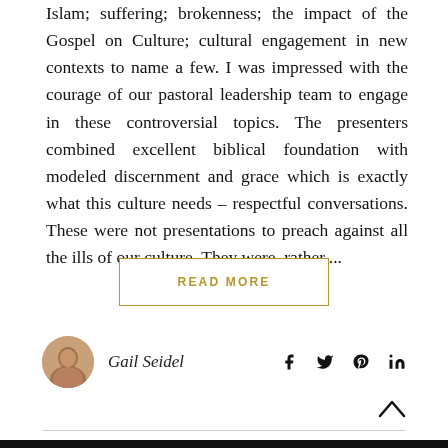Islam; suffering; brokenness; the impact of the Gospel on Culture; cultural engagement in new contexts to name a few. I was impressed with the courage of our pastoral leadership team to engage in these controversial topics. The presenters combined excellent biblical foundation with modeled discernment and grace which is exactly what this culture needs – respectful conversations. These were not presentations to preach against all the ills of our culture. They were, rather,...
READ MORE
Gail Seidel